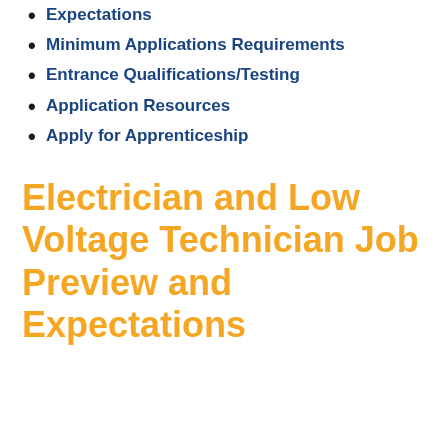Expectations
Minimum Applications Requirements
Entrance Qualifications/Testing
Application Resources
Apply for Apprenticeship
Electrician and Low Voltage Technician Job Preview and Expectations